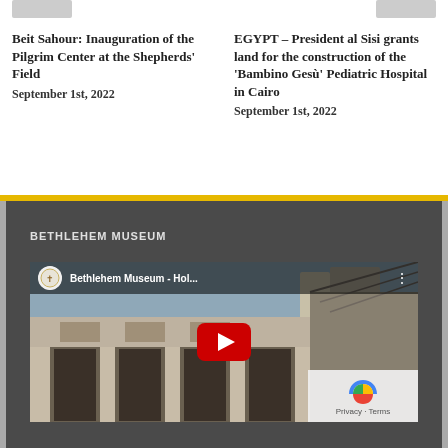Beit Sahour: Inauguration of the Pilgrim Center at the Shepherds' Field
September 1st, 2022
EGYPT – President al Sisi grants land for the construction of the 'Bambino Gesù' Pediatric Hospital in Cairo
September 1st, 2022
BETHLEHEM MUSEUM
[Figure (screenshot): YouTube video thumbnail showing Bethlehem Museum building with stone arches, title 'Bethlehem Museum - Hol...' with play button overlay and YouTube interface elements. Privacy - Terms box visible in bottom right corner.]